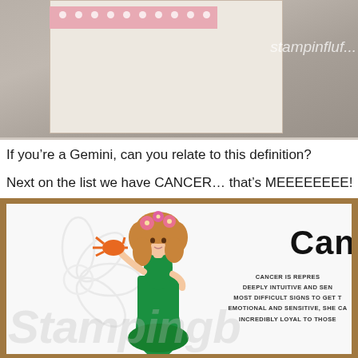[Figure (photo): Top portion shows a crafting/stamping blog photo with a pink polka dot card element and text 'stampinfluf...' watermark visible on gray background]
If you’re a Gemini, can you relate to this definition?
Next on the list we have CANCER… that’s MEEEEEEEE!
[Figure (illustration): A stamping/craft card featuring a Cancer zodiac illustration: a woman in a green mermaid dress with curly hair and pink flowers, holding an orange crab. Text reads 'Can...' (Cancer) with description about Cancer zodiac sign. Background has outline flower. 'Stampingb...' watermark at bottom.]